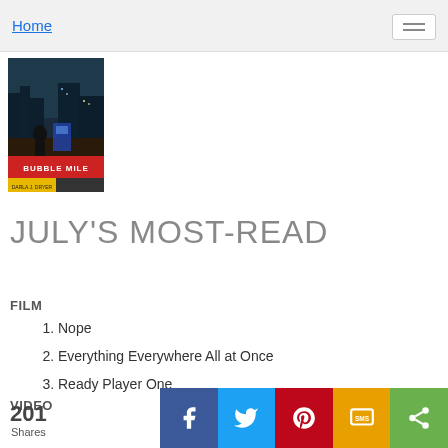Home
[Figure (photo): Book/DVD cover for 'Bubble Mile' — dark blue/green cityscape with figures, red and yellow accent panels at bottom]
JULY'S MOST-READ
FILM
1. Nope
2. Everything Everywhere All at Once
3. Ready Player One
VIDEO
201 Shares — Facebook, Twitter, Pinterest, SMS, Share buttons